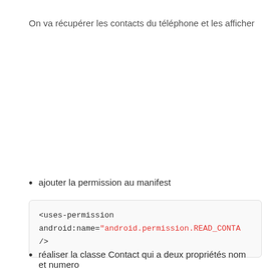On va récupérer les contacts du téléphone et les afficher
ajouter la permission au manifest
<uses-permission
android:name="android.permission.READ_CONTA
/>
réaliser la classe Contact qui a deux propriétés nom et numero